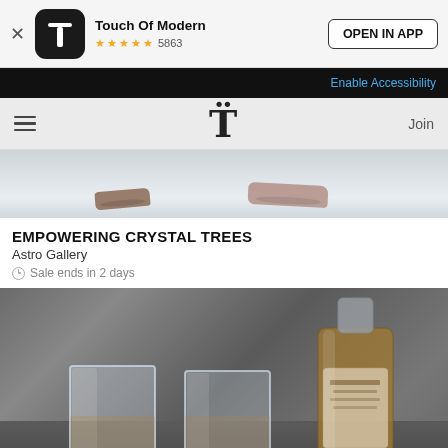[Figure (screenshot): App install banner for Touch Of Modern with app icon, star rating 4.5 stars with 5863 reviews, and OPEN IN APP button]
Enable Accessibility
[Figure (screenshot): Navigation bar with hamburger menu icon, Touch Of Modern logo T, and Join link]
[Figure (photo): Close-up photo of crystal stones on a light grey/white surface - Empowering Crystal Trees product image]
EMPOWERING CRYSTAL TREES
Astro Gallery
Sale ends in 2 days
[Figure (photo): Close-up photo of two square whiskey glasses and a whiskey bottle on a dark grey surface]